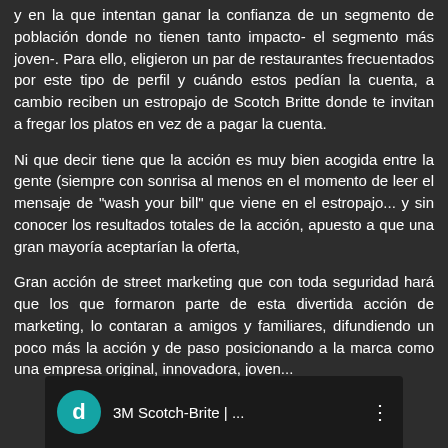y en la que intentan ganar la confianza de un segmento de población donde no tienen tanto impacto- el segmento más joven-. Para ello, eligieron un par de restaurantes frecuentados por este tipo de perfil y cuándo estos pedían la cuenta, a cambio reciben un estropajo de Scotch Britte donde te invitan a fregar los platos en vez de a pagar la cuenta.
Ni que decir tiene que la acción es muy bien acogida entre la gente (siempre con sonrisa al menos en el momento de leer el mensaje de "wash your bill" que viene en el estropajo... y sin conocer los resultados totales de la acción, apuesto a que una gran mayoría aceptarían la oferta,
Gran acción de street marketing que con toda seguridad hará que los que formaron parte de esta divertida acción de marketing, lo contaran a amigos y familiares, difundiendo un poco más la acción y de paso posicionando a la marca como una empresa original, innovadora, joven...
[Figure (screenshot): Video thumbnail showing a channel icon with letter 'd' on teal circle background, title '3M Scotch-Brite | ...' and a three-dot menu icon]